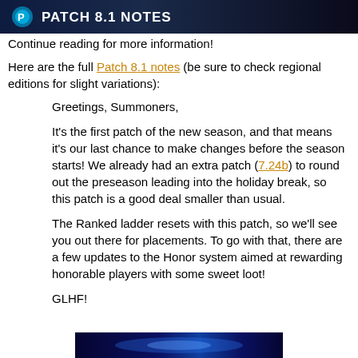[Figure (screenshot): Dark banner image with blue/teal logo icon on left and text 'PATCH 8.1 NOTES' in white bold font on dark background]
Continue reading for more information!
Here are the full Patch 8.1 notes (be sure to check regional editions for slight variations):
Greetings, Summoners,

It's the first patch of the new season, and that means it's our last chance to make changes before the season starts! We already had an extra patch (7.24b) to round out the preseason leading into the holiday break, so this patch is a good deal smaller than usual.

The Ranked ladder resets with this patch, so we'll see you out there for placements. To go with that, there are a few updates to the Honor system aimed at rewarding honorable players with some sweet loot!

GLHF!
[Figure (screenshot): Dark banner image at the bottom of the page, partially visible]